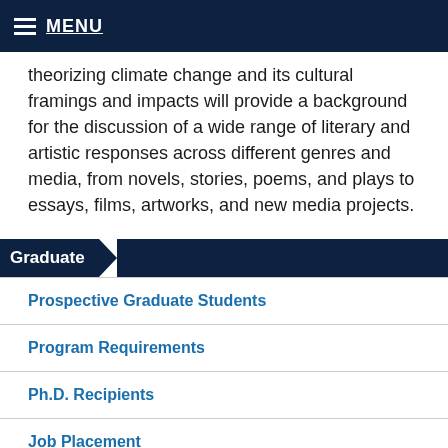MENU
theorizing climate change and its cultural framings and impacts will provide a background for the discussion of a wide range of literary and artistic responses across different genres and media, from novels, stories, poems, and plays to essays, films, artworks, and new media projects.
Graduate
Prospective Graduate Students
Program Requirements
Ph.D. Recipients
Job Placement